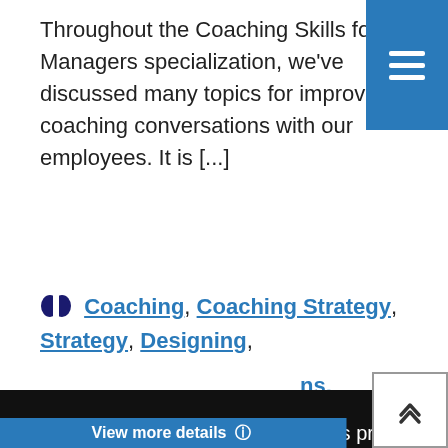[Figure (screenshot): Blue navigation menu button in top-right corner with three horizontal white lines (hamburger icon)]
Throughout the Coaching Skills for Managers specialization, we've discussed many topics for improving coaching conversations with our employees. It is [...]
Coaching, Coaching Strategy, Strategy, Designing,
This website uses cookies to help us provide you a better experience. By clicking any link on this page you are giving your consent for us to set cookies. Learn more
Got it!
[Figure (screenshot): Scroll-to-top button in bottom right corner with upward-pointing chevron]
View more details